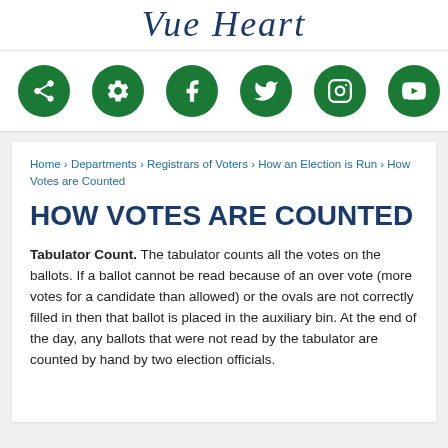Vue Heart
[Figure (infographic): Six green circular social media/navigation icons: share, settings, Facebook, Twitter, Instagram, YouTube]
Home › Departments › Registrars of Voters › How an Election is Run › How Votes are Counted
HOW VOTES ARE COUNTED
Tabulator Count. The tabulator counts all the votes on the ballots. If a ballot cannot be read because of an over vote (more votes for a candidate than allowed) or the ovals are not correctly filled in then that ballot is placed in the auxiliary bin. At the end of the day, any ballots that were not read by the tabulator are counted by hand by two election officials.